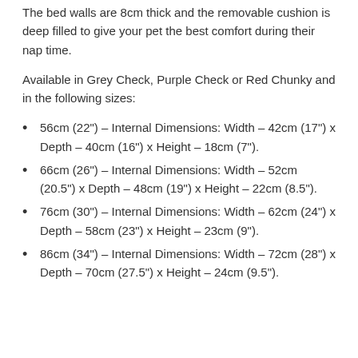The bed walls are 8cm thick and the removable cushion is deep filled to give your pet the best comfort during their nap time.
Available in Grey Check, Purple Check or Red Chunky and in the following sizes:
56cm (22") - Internal Dimensions: Width - 42cm (17") x Depth - 40cm (16") x Height - 18cm (7").
66cm (26") - Internal Dimensions: Width - 52cm (20.5") x Depth - 48cm (19") x Height - 22cm (8.5").
76cm (30") - Internal Dimensions: Width - 62cm (24") x Depth - 58cm (23") x Height - 23cm (9").
86cm (34") - Internal Dimensions: Width - 72cm (28") x Depth - 70cm (27.5") x Height - 24cm (9.5").